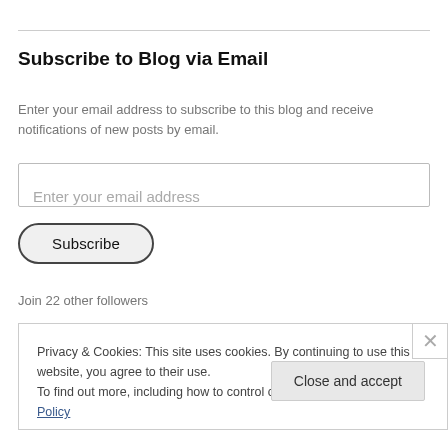Subscribe to Blog via Email
Enter your email address to subscribe to this blog and receive notifications of new posts by email.
Enter your email address
Subscribe
Join 22 other followers
Privacy & Cookies: This site uses cookies. By continuing to use this website, you agree to their use.
To find out more, including how to control cookies, see here: Cookie Policy
Close and accept